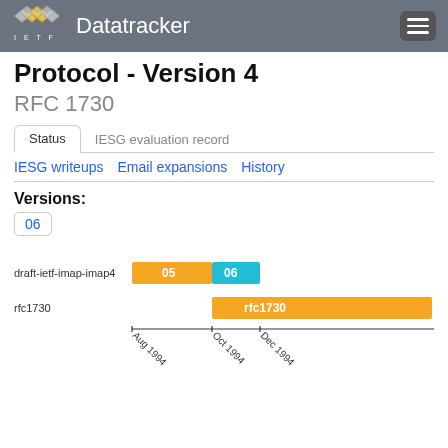IETF Datatracker
Protocol - Version 4
RFC 1730
Status | IESG evaluation record
IESG writeups   Email expansions   History
Versions:
06
[Figure (bar-chart): Draft timeline]